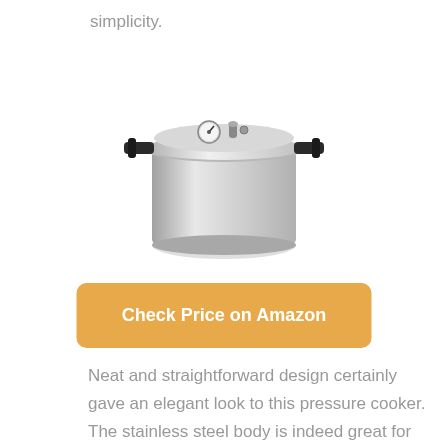simplicity.
[Figure (photo): A silver aluminum pressure cooker with black handles on the sides, a pressure gauge and safety valve on the lid, viewed from a slightly elevated angle.]
Check Price on Amazon
Neat and straightforward design certainly gave an elegant look to this pressure cooker. The stainless steel body is indeed great for no chance of rust formation.